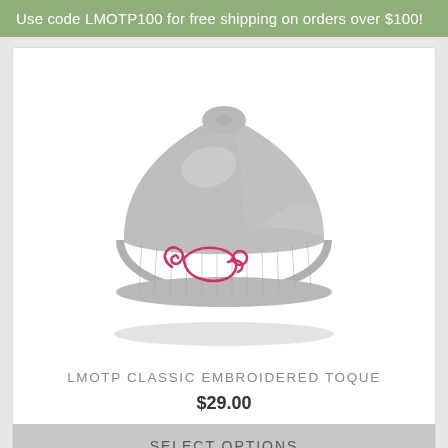Use code LMOTP100 for free shipping on orders over $100!
[Figure (photo): Grey knit beanie/toque hat with pink embroidered mouse logo on the cuff, photographed on white background]
LMOTP CLASSIC EMBROIDERED TOQUE
$29.00
SELECT OPTIONS